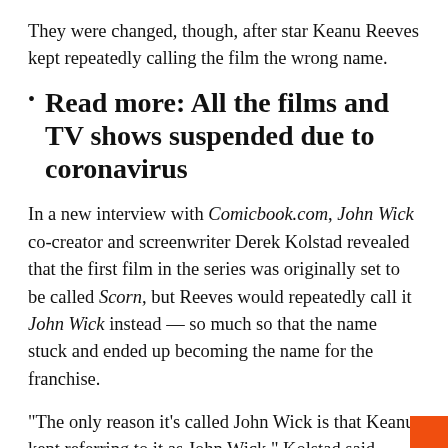They were changed, though, after star Keanu Reeves kept repeatedly calling the film the wrong name.
Read more: All the films and TV shows suspended due to coronavirus
In a new interview with Comicbook.com, John Wick co-creator and screenwriter Derek Kolstad revealed that the first film in the series was originally set to be called Scorn, but Reeves would repeatedly call it John Wick instead — so much so that the name stuck and ended up becoming the name for the franchise.
“The only reason it’s called John Wick is that Keanu kept referring to it as John Wick,” Kolstad said.
“Marketing was like, ‘Dude, that’s four to five million